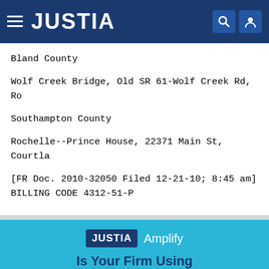JUSTIA
Bland County
Wolf Creek Bridge, Old SR 61-Wolf Creek Rd, Ro
Southampton County
Rochelle--Prince House, 22371 Main St, Courtla
[FR Doc. 2010-32050 Filed 12-21-10; 8:45 am]
BILLING CODE 4312-51-P
[Figure (logo): JUSTIA Amplify logo and tagline reading 'Is Your Firm Using']